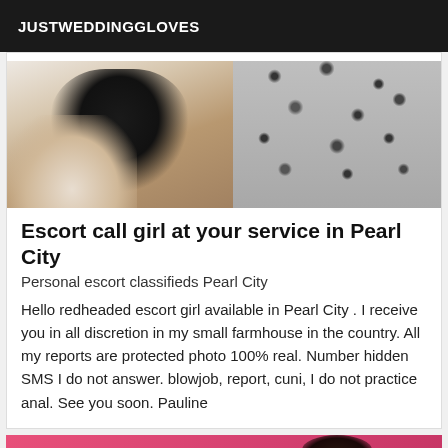JUSTWEDDINGGLOVES
[Figure (photo): Top portion of a photo showing a person in dark clothing with a leopard print item visible on the right side, against a light background]
Escort call girl at your service in Pearl City
Personal escort classifieds Pearl City
Hello redheaded escort girl available in Pearl City . I receive you in all discretion in my small farmhouse in the country. All my reports are protected photo 100% real. Number hidden SMS I do not answer. blowjob, report, cuni, I do not practice anal. See you soon. Pauline
[Figure (photo): Bottom portion showing a woman with dark hair smiling against a pink/hot pink background]